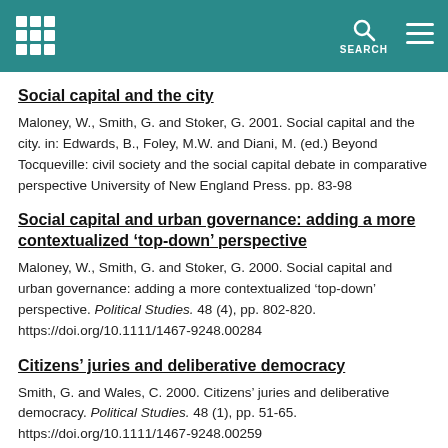Social capital and the city
Maloney, W., Smith, G. and Stoker, G. 2001. Social capital and the city. in: Edwards, B., Foley, M.W. and Diani, M. (ed.) Beyond Tocqueville: civil society and the social capital debate in comparative perspective University of New England Press. pp. 83-98
Social capital and urban governance: adding a more contextualized ‘top-down’ perspective
Maloney, W., Smith, G. and Stoker, G. 2000. Social capital and urban governance: adding a more contextualized ‘top-down’ perspective. Political Studies. 48 (4), pp. 802-820. https://doi.org/10.1111/1467-9248.00284
Citizens’ juries and deliberative democracy
Smith, G. and Wales, C. 2000. Citizens’ juries and deliberative democracy. Political Studies. 48 (1), pp. 51-65. https://doi.org/10.1111/1467-9248.00259